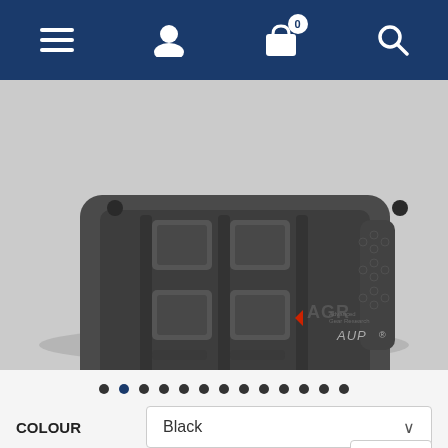Navigation bar with menu, user, cart (0), and search icons
[Figure (photo): Dark grey/black tactical bag (AGR Advanced Gear Research AUP) viewed from behind, showing MOLLE-compatible back panel with velcro patches, on a light grey background. AGR logo and AUP text visible in lower right.]
● ● ● ● ● ● ● ● ● ● ● ● ● (image carousel dots, second dot active/blue)
COLOUR  Black ∨
QUANTITY  1